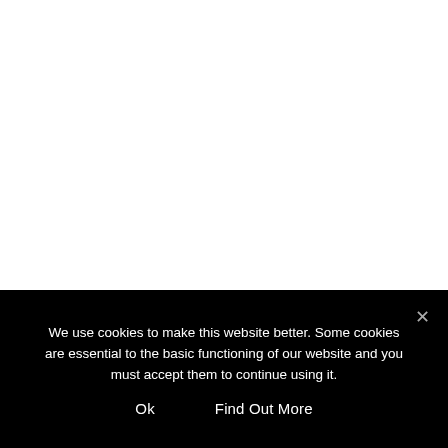We use cookies to make this website better. Some cookies are essential to the basic functioning of our website and you must accept them to continue using it.
Ok
Find Out More